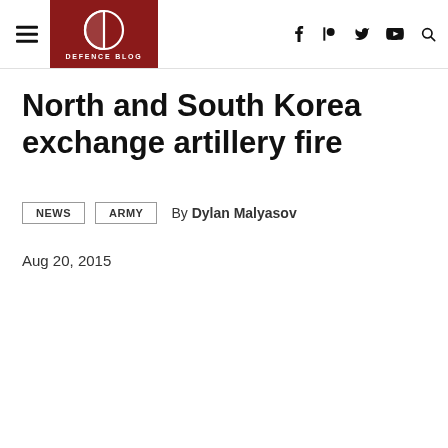Defence Blog
North and South Korea exchange artillery fire
NEWS  ARMY  By Dylan Malyasov
Aug 20, 2015